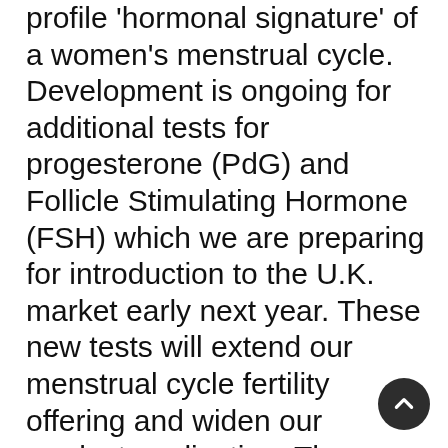profile 'hormonal signature' of a women's menstrual cycle.  Development is ongoing for additional tests for progesterone (PdG) and Follicle Stimulating Hormone (FSH) which we are preparing for introduction to the U.K. market early next year. These new tests will extend our menstrual cycle fertility offering and widen our product application. These new test developments represent a significant new market